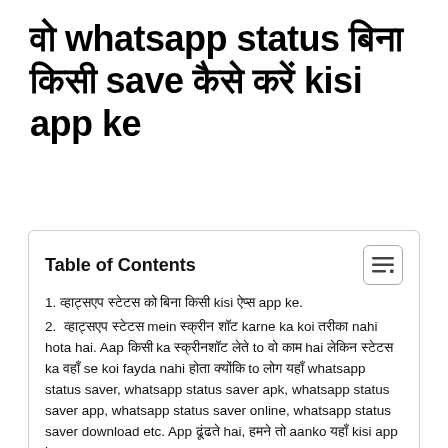वो whatsapp status बिना किसी app के save कैसे करें kisi app ke
| Table of Contents |
| --- |
| 1. व्हाट्सएप स्टेटस को बिना किसी kisi ऐप्स app ke. |
| 2.  व्हाट्सएप स्टेटस mein स्क्रीन शॉट karne ka koi तरीका nahi hota hai. Aap किसी ka स्क्रीनशॉट लेते to वो काम hai लेकिन स्टेटस ka वहाँ se koi fayda nahi होता क्योंकि to लोग यहाँ whatsapp status saver, whatsapp status saver apk, whatsapp status saver app, whatsapp status saver online, whatsapp status saver download etc. App ढूंढते hai, हमने तो aanko यहाँ kisi app ke |